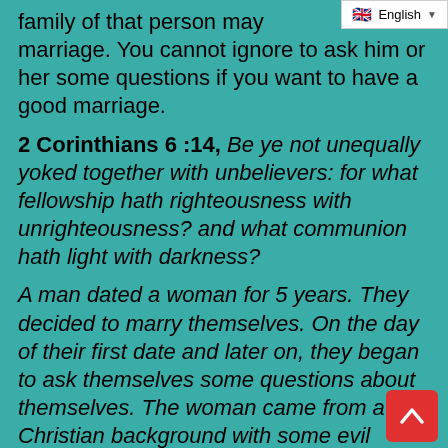English
family of that person may ... marriage. You cannot ignore to ask him or her some questions if you want to have a good marriage.
2 Corinthians 6:14, Be ye not unequally yoked together with unbelievers: for what fellowship hath righteousness with unrighteousness? and what communion hath light with darkness?
A man dated a woman for 5 years. They decided to marry themselves. On the day of their first date and later on, they began to ask themselves some questions about themselves. The woman came from a Christian background with some evil patterns in the family. The guy came from good family but with some destructive patterns in the